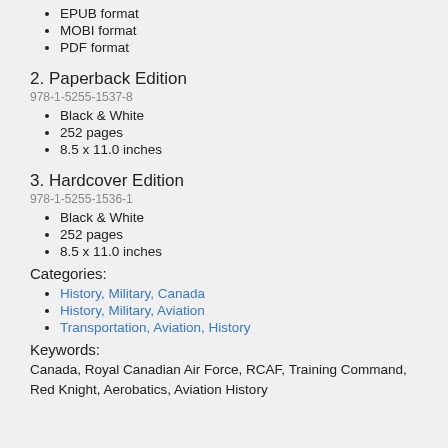EPUB format
MOBI format
PDF format
2. Paperback Edition
978-1-5255-1537-8
Black & White
252 pages
8.5 x 11.0 inches
3. Hardcover Edition
978-1-5255-1536-1
Black & White
252 pages
8.5 x 11.0 inches
Categories:
History, Military, Canada
History, Military, Aviation
Transportation, Aviation, History
Keywords:
Canada, Royal Canadian Air Force, RCAF, Training Command, Red Knight, Aerobatics, Aviation History